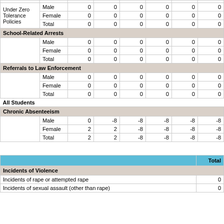|  |  | col1 | col2 | col3 | col4 | col5 | col6 |
| --- | --- | --- | --- | --- | --- | --- | --- |
| Under Zero Tolerance Policies | Male | 0 | 0 | 0 | 0 | 0 | 0 |
|  | Female | 0 | 0 | 0 | 0 | 0 | 0 |
|  | Total | 0 | 0 | 0 | 0 | 0 | 0 |
| School-Related Arrests |  |  |  |  |  |  |  |
|  | Male | 0 | 0 | 0 | 0 | 0 | 0 |
|  | Female | 0 | 0 | 0 | 0 | 0 | 0 |
|  | Total | 0 | 0 | 0 | 0 | 0 | 0 |
| Referrals to Law Enforcement |  |  |  |  |  |  |  |
|  | Male | 0 | 0 | 0 | 0 | 0 | 0 |
|  | Female | 0 | 0 | 0 | 0 | 0 | 0 |
|  | Total | 0 | 0 | 0 | 0 | 0 | 0 |
| All Students |  |  |  |  |  |  |  |
| Chronic Absenteeism |  |  |  |  |  |  |  |
|  | Male | 0 | -8 | -8 | -8 | -8 | -8 |
|  | Female | 2 | 2 | -8 | -8 | -8 | -8 |
|  | Total | 2 | 2 | -8 | -8 | -8 | -8 |
|  | Total |
| --- | --- |
| Incidents of Violence |  |
| Incidents of rape or attempted rape | 0 |
| Incidents of sexual assault (other than rape) | 0 |